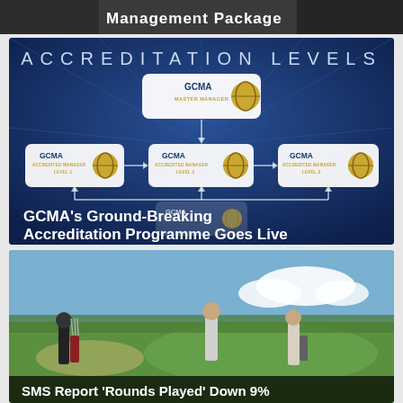[Figure (photo): Top dark banner strip showing partial text 'Management Package']
[Figure (infographic): GCMA Accreditation Levels diagram on dark blue background showing GCMA Master Manager at top, with three GCMA Accredited Manager Level 1, 2, 3 badges below connected by arrows. Text reads GCMA's Ground-Breaking Accreditation Programme Goes Live]
[Figure (photo): Golf course photo showing three men walking with golf bags on a green course. Text overlay reads SMS Report 'Rounds Played' Down 9%]